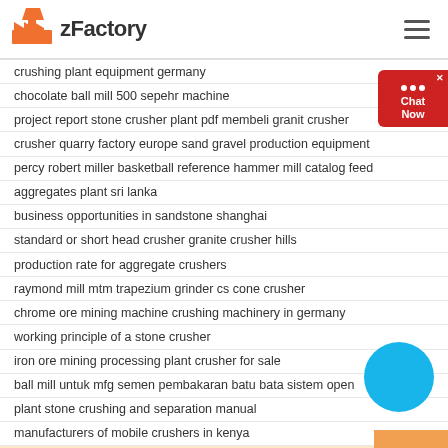zFactory
crushing plant equipment germany
chocolate ball mill 500 sepehr machine
project report stone crusher plant pdf membeli granit crusher
crusher quarry factory europe sand gravel production equipment
percy robert miller basketball reference hammer mill catalog feed
aggregates plant sri lanka
business opportunities in sandstone shanghai
standard or short head crusher granite crusher hills
production rate for aggregate crushers
raymond mill mtm trapezium grinder cs cone crusher
chrome ore mining machine crushing machinery in germany
working principle of a stone crusher
iron ore mining processing plant crusher for sale
ball mill untuk mfg semen pembakaran batu bata sistem open
plant stone crushing and separation manual
manufacturers of mobile crushers in kenya
rock crushing machine used in mining grinding mills in ghaziabad
eagle mountain mine purchase tangan crusher batu untuk emas